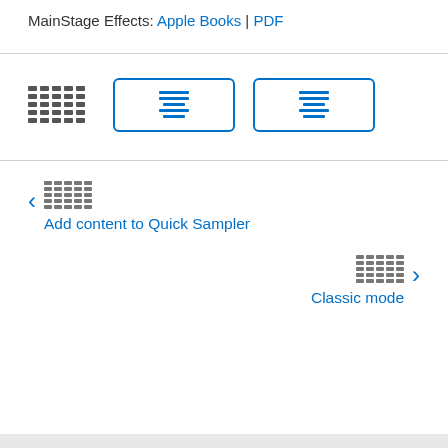MainStage Effects: Apple Books | PDF
[Figure (other): UI toolbar icons: a grid icon and two rectangular button icons with horizontal line symbols, rendered in blue]
Add content to Quick Sampler
Classic mode